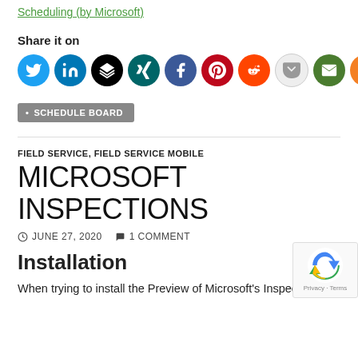Scheduling (by Microsoft)
Share it on
[Figure (infographic): Row of social media sharing icons: Twitter (blue), LinkedIn (blue), a stack/layers icon (black), Xing (teal), Facebook (dark blue), Pinterest (red), Reddit (orange-red), Pocket (light gray), Email/envelope (dark green), More/plus (orange)]
• SCHEDULE BOARD
FIELD SERVICE, FIELD SERVICE MOBILE
MICROSOFT INSPECTIONS
JUNE 27, 2020   1 COMMENT
Installation
When trying to install the Preview of Microsoft's Inspections